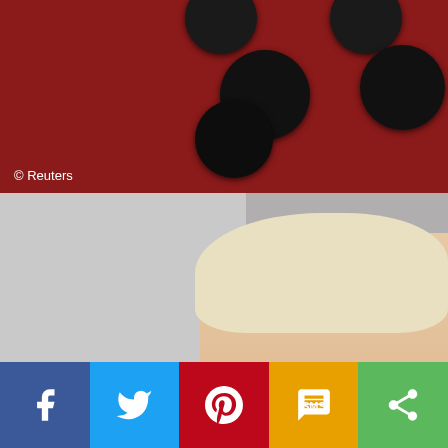[Figure (photo): Top portion of a photo showing glossy black spherical ornaments/balls on a red background]
© Reuters
[Figure (photo): A blonde woman smiling at the Kennedy Center event, wearing a black outfit. Text visible includes 'ly Center' and 'The K' with Kennedy Center logo in the background]
[Figure (infographic): Social media share bar with Facebook, Twitter, Pinterest, SMS, and Share buttons]